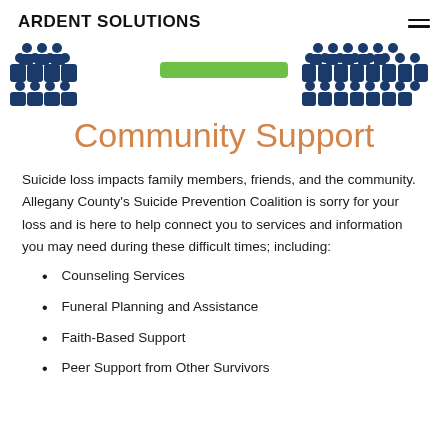ARDENT SOLUTIONS
[Figure (illustration): Decorative banner image showing stylized groups of people icons in dark blue/navy arranged in clusters, with a green horizontal bar in the center portion, suggesting community groups.]
Community Support
Suicide loss impacts family members, friends, and the community. Allegany County's Suicide Prevention Coalition is sorry for your loss and is here to help connect you to services and information you may need during these difficult times; including:
Counseling Services
Funeral Planning and Assistance
Faith-Based Support
Peer Support from Other Survivors